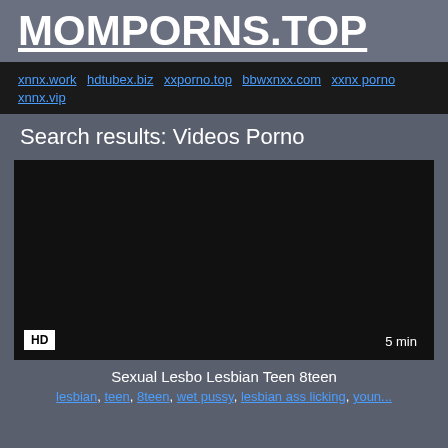MOMPORNS.TOP
xnnx.work hdtubex.biz xxporno.top bbwxnxx.com xxnx porno xnnx.vip
Search results: Videos Porno
[Figure (screenshot): Dark video thumbnail with HD badge in bottom-left and 5 min duration badge in bottom-right]
Sexual Lesbo Lesbian Teen 8teen
lesbian, teen, 8teen, wet pussy, lesbian ass licking, youn...